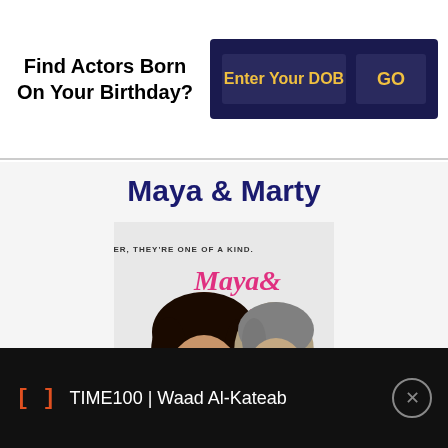Find Actors Born On Your Birthday?
Enter Your DOB
GO
Maya & Marty
[Figure (illustration): Movie/TV show poster for Maya & Marty. Text reads 'TOGETHER, THEY'RE ONE OF A KIND.' with 'Maya& Marty' in pink script lettering. Shows a woman with curly dark hair and a man with grey hair.]
TIME100 | Waad Al-Kateab